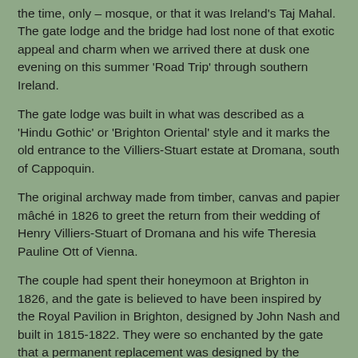the time, only – mosque, or that it was Ireland's Taj Mahal. The gate lodge and the bridge had lost none of that exotic appeal and charm when we arrived there at dusk one evening on this summer 'Road Trip' through southern Ireland.
The gate lodge was built in what was described as a 'Hindu Gothic' or 'Brighton Oriental' style and it marks the old entrance to the Villiers-Stuart estate at Dromana, south of Cappoquin.
The original archway made from timber, canvas and papier mâché in 1826 to greet the return from their wedding of Henry Villiers-Stuart of Dromana and his wife Theresia Pauline Ott of Vienna.
The couple had spent their honeymoon at Brighton in 1826, and the gate is believed to have been inspired by the Royal Pavilion in Brighton, designed by John Nash and built in 1815-1822. They were so enchanted by the gate that a permanent replacement was designed by the Wexford architect Martin Day in 1849 and completed in 1851.